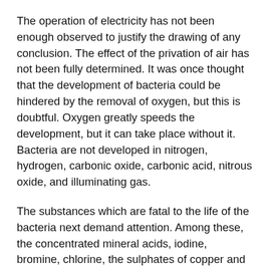The operation of electricity has not been enough observed to justify the drawing of any conclusion. The effect of the privation of air has not been fully determined. It was once thought that the development of bacteria could be hindered by the removal of oxygen, but this is doubtful. Oxygen greatly speeds the development, but it can take place without it. Bacteria are not developed in nitrogen, hydrogen, carbonic oxide, carbonic acid, nitrous oxide, and illuminating gas.
The substances which are fatal to the life of the bacteria next demand attention. Among these, the concentrated mineral acids, iodine, bromine, chlorine, the sulphates of copper and zinc, corrosive sublimate, benzoic acid and its salts, salicylic and metasalicylic acids, quinia, many aromatic substances, and alcohol, have long been known as such. Carbolic acid is the highest in repute among the antiseptics, it being a matter of fact that Mr. F...